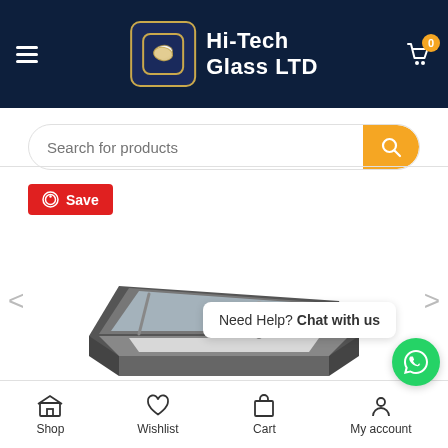[Figure (logo): Hi-Tech Glass LTD logo with golden book icon on dark blue background, hamburger menu on left, shopping cart with 0 badge on right]
Search for products
Save
[Figure (photo): Dark grey flat roof skylight window shown open at an angle, with metal prop arm holding it up, viewed from perspective angle on white background]
Need Help? Chat with us
Shop  Wishlist  Cart  My account